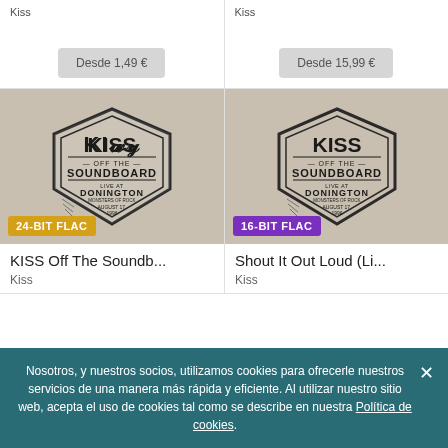Kiss
Desde 1,49 €
Kiss
Desde 15,99 €
[Figure (photo): KISS Off The Soundboard album cover with 24-BIT FLAC badge]
[Figure (photo): Shout It Out Loud (Li... album cover with 16-BIT FLAC badge]
KISS Off The Soundb...
Kiss
Shout It Out Loud (Li...
Kiss
Nosotros, y nuestros socios, utilizamos cookies para ofrecerle nuestros servicios de una manera más rápida y eficiente. Al utilizar nuestro sitio web, acepta el uso de cookies tal como se describe en nuestra Política de cookies.